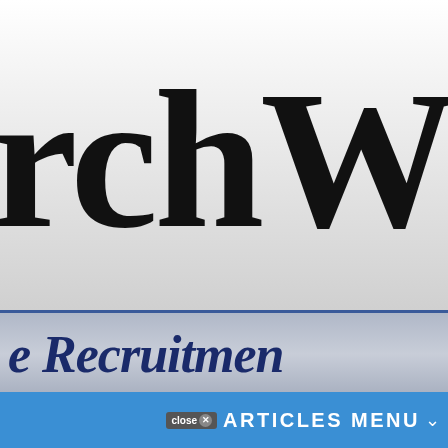[Figure (logo): Partial logo showing 'rchW' in large black serif font on a white-to-gray gradient background]
e Recruitment
ARTICLES MENU ˅
close ✕